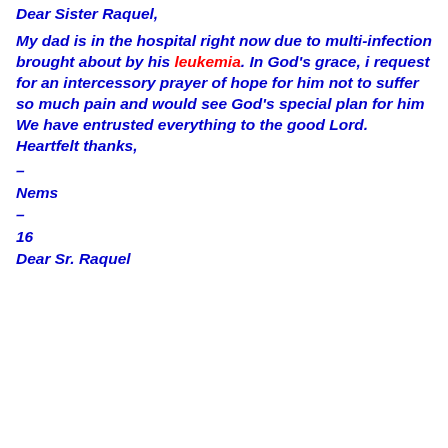Dear Sister Raquel,
My dad is in the hospital right now due to multi-infection brought about by his leukemia. In God’s grace, i request for an intercessory prayer of hope for him not to suffer so much pain and would see God’s special plan for him We have entrusted everything to the good Lord. Heartfelt thanks,
–
Nems
–
16
Dear Sr. Raquel